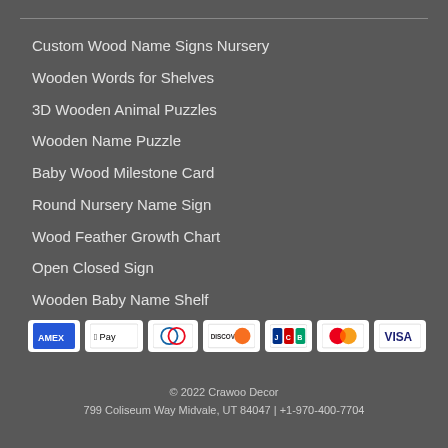Custom Wood Name Signs Nursery
Wooden Words for Shelves
3D Wooden Animal Puzzles
Wooden Name Puzzle
Baby Wood Milestone Card
Round Nursery Name Sign
Wood Feather Growth Chart
Open Closed Sign
Wooden Baby Name Shelf
[Figure (other): Payment method icons: AMEX, Apple Pay, Diners Club, Discover, JCB, Mastercard, VISA]
© 2022 Crawoo Decor
799 Coliseum Way Midvale, UT 84047 | +1-970-400-7704